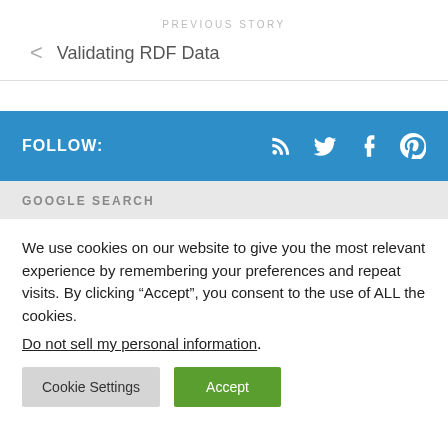PREVIOUS STORY
< Validating RDF Data
FOLLOW:
GOOGLE SEARCH
We use cookies on our website to give you the most relevant experience by remembering your preferences and repeat visits. By clicking “Accept”, you consent to the use of ALL the cookies.
Do not sell my personal information.